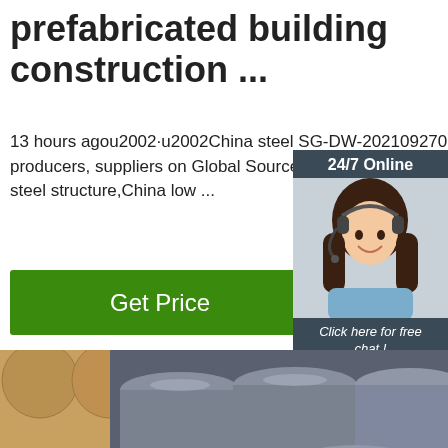prefabricated building construction ...
13 hours agou2002·u2002China steel SG-DW-2021092702 is supplied by steel manufacturers, producers, suppliers on Global Sources, steel structure,China low ...
[Figure (screenshot): Green 'Get Price' button]
[Figure (photo): Chat widget with woman wearing headset, '24/7 Online' header, 'Click here for free chat!' text, and orange QUOTATION button]
[Figure (photo): Photo of steel round bars/rods stacked together with a TOP badge overlay in bottom right]